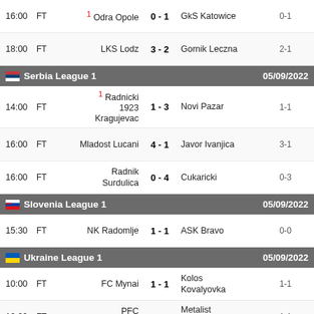| Time | Status | Home | Score | Away | HT |
| --- | --- | --- | --- | --- | --- |
| 16:00 | FT | ¹ Odra Opole | 0 - 1 | GkS Katowice | 0-1 |
| 18:00 | FT | LKS Lodz | 3 - 2 | Gornik Leczna | 2-1 |
Serbia League 1  05/09/2022
| Time | Status | Home | Score | Away | HT |
| --- | --- | --- | --- | --- | --- |
| 14:00 | FT | ¹ Radnicki 1923 Kragujevac | 1 - 3 | Novi Pazar | 1-1 |
| 16:00 | FT | Mladost Lucani | 4 - 1 | Javor Ivanjica | 3-1 |
| 16:00 | FT | Radnik Surdulica | 0 - 4 | Cukaricki | 0-3 |
Slovenia League 1  05/09/2022
| Time | Status | Home | Score | Away | HT |
| --- | --- | --- | --- | --- | --- |
| 15:30 | FT | NK Radomlje | 1 - 1 | ASK Bravo | 0-0 |
Ukraine League 1  05/09/2022
| Time | Status | Home | Score | Away | HT |
| --- | --- | --- | --- | --- | --- |
| 10:00 | FT | FC Mynai | 1 - 1 | Kolos Kovalyovka | 1-1 |
| 12:00 | FT | PFC Oleksandria | 1 - 3 | Metalist Kharkiv ¹ | 1-1 |
Bolivia League 1  05/09/2022
| Time | Status | Home | Score | Away | HT |
| --- | --- | --- | --- | --- | --- |
| 22:00 |  | Jorge Wilstermann | - | Royal Pari |  |
06/09/2022
| Time | Status | Home | Score | Away | HT |
| --- | --- | --- | --- | --- | --- |
| 00:15 |  | Oriente Petrolero | - | Aurora |  |
Colombia Primera A  05/09/2022
Jaguares de